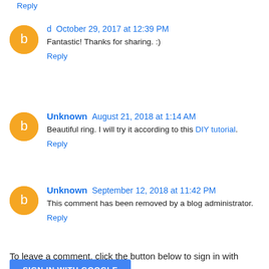Reply
d  October 29, 2017 at 12:39 PM
Fantastic! Thanks for sharing. :)
Reply
Unknown  August 21, 2018 at 1:14 AM
Beautiful ring. I will try it according to this DIY tutorial.
Reply
Unknown  September 12, 2018 at 11:42 PM
This comment has been removed by a blog administrator.
Reply
To leave a comment, click the button below to sign in with Google.
SIGN IN WITH GOOGLE